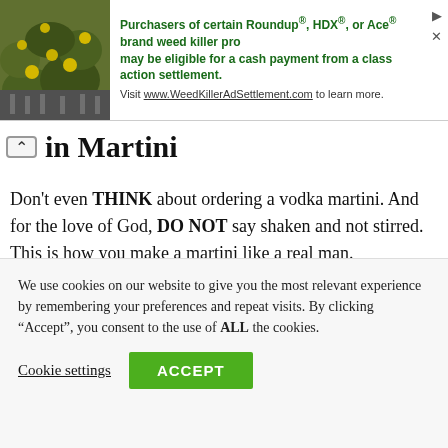[Figure (other): Advertisement banner with plant/flower background image on left and green text about Roundup/HDX/Ace weed killer class action settlement on right]
Gin Martini
Don't even THINK about ordering a vodka martini. And for the love of God, DO NOT say shaken and not stirred. This is how you make a martini like a real man.
50ml Plymouth gin (or Hendricks)
We use cookies on our website to give you the most relevant experience by remembering your preferences and repeat visits. By clicking “Accept”, you consent to the use of ALL the cookies.
Cookie settings | ACCEPT